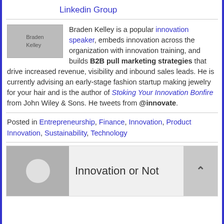Linkedin Group
Braden Kelley is a popular innovation speaker, embeds innovation across the organization with innovation training, and builds B2B pull marketing strategies that drive increased revenue, visibility and inbound sales leads. He is currently advising an early-stage fashion startup making jewelry for your hair and is the author of Stoking Your Innovation Bonfire from John Wiley & Sons. He tweets from @innovate.
Posted in Entrepreneurship, Finance, Innovation, Product Innovation, Sustainability, Technology
Innovation or Not